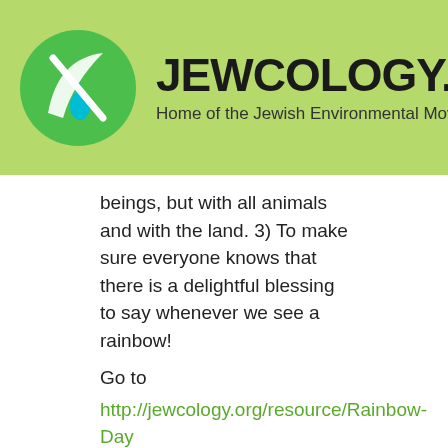[Figure (logo): Jewcology.org logo: green circle with white leaf/water drop icon, bold text JEWCOLOGY.ORG and subtitle Home of the Jewish Environmental Movement on light green banner]
beings, but with all animals and with the land. 3) To make sure everyone knows that there is a delightful blessing to say whenever we see a rainbow!
Go to http://jewcology.org/resource/Rainbow-Day to find out more about Rainbow Day and to access what we've put together.
What is Rainbow Day?
On the 27th day of the second month, Noah, his family, and all the animals that were with them left the ark (Genesis 8). Exactly one lunar year and ten days before...one